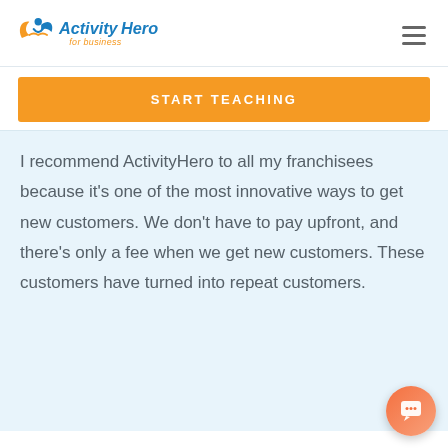ActivityHero for business
START TEACHING
I recommend ActivityHero to all my franchisees because it's one of the most innovative ways to get new customers. We don't have to pay upfront, and there's only a fee when we get new customers. These customers have turned into repeat customers.